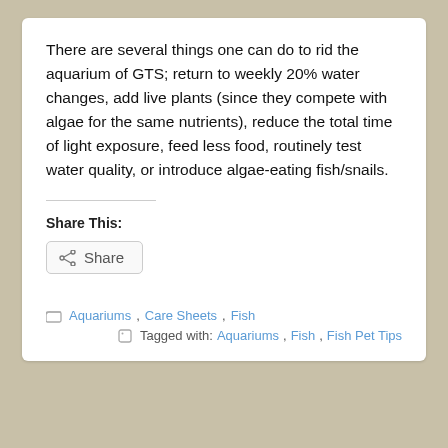There are several things one can do to rid the aquarium of GTS; return to weekly 20% water changes, add live plants (since they compete with algae for the same nutrients), reduce the total time of light exposure, feed less food, routinely test water quality, or introduce algae-eating fish/snails.
Share This:
[Figure (other): Share button with share icon]
Aquariums , Care Sheets , Fish
Tagged with: Aquariums , Fish , Fish Pet Tips
[Figure (logo): Wilmette Pet Center logo with animal silhouette]
Welcome to Wilmette Pet